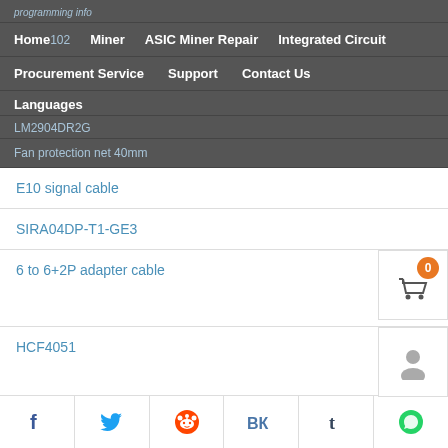Home 102   Miner   ASIC Miner Repair   Integrated Circuit
Procurement Service   Support   Contact Us
Languages
LM2904DR2G
Fan protection net 40mm
E10 signal cable
SIRA04DP-T1-GE3
6 to 6+2P adapter cable
HCF4051
M24C02-RMN6TP
SGM3750YTDI6G/TR
Facebook  Twitter  Reddit  VK  Tumblr  WhatsApp